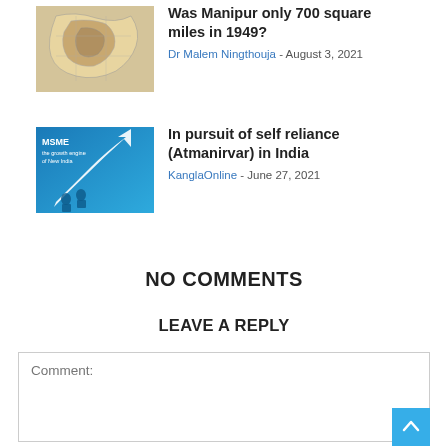[Figure (map): Map of Manipur region, historical map with colored regions]
Was Manipur only 700 square miles in 1949?
Dr Malem Ningthouja - August 3, 2021
[Figure (illustration): MSME - the growth engine of New India promotional banner with arrow and people]
In pursuit of self reliance (Atmanirvar) in India
KanglaOnline - June 27, 2021
NO COMMENTS
LEAVE A REPLY
Comment: